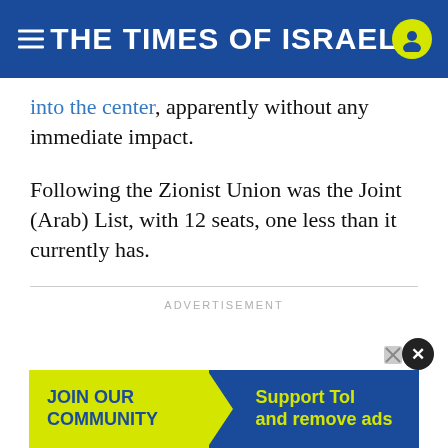THE TIMES OF ISRAEL
into the center, apparently without any immediate impact.
Following the Zionist Union was the Joint (Arab) List, with 12 seats, one less than it currently has.
ADVERTISEMENT
[Figure (other): Bottom advertisement banner: yellow left section with 'JOIN OUR COMMUNITY' text and blue right section with 'Support ToI and remove ads' text in yellow]